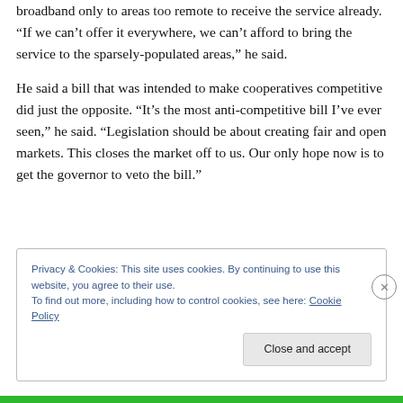broadband only to areas too remote to receive the service already. “If we can’t offer it everywhere, we can’t afford to bring the service to the sparsely-populated areas,” he said.
He said a bill that was intended to make cooperatives competitive did just the opposite. “It’s the most anti-competitive bill I’ve ever seen,” he said. “Legislation should be about creating fair and open markets. This closes the market off to us. Our only hope now is to get the governor to veto the bill.”
Privacy & Cookies: This site uses cookies. By continuing to use this website, you agree to their use.
To find out more, including how to control cookies, see here: Cookie Policy